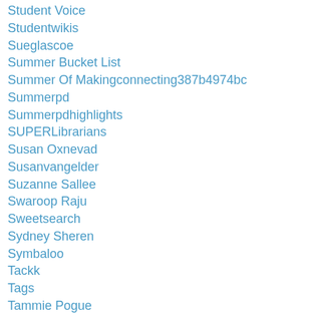Student Voice
Studentwikis
Sueglascoe
Summer Bucket List
Summer Of Makingconnecting387b4974bc
Summerpd
Summerpdhighlights
SUPERLibrarians
Susan Oxnevad
Susanvangelder
Suzanne Sallee
Swaroop Raju
Sweetsearch
Sydney Sheren
Symbaloo
Tackk
Tags
Tammie Pogue
Tammymoore
Tanya Avrith